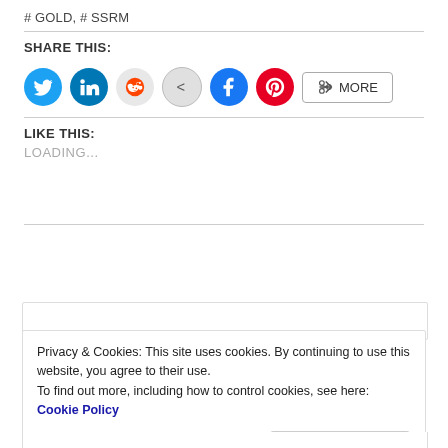# GOLD, # SSRM
SHARE THIS:
[Figure (infographic): Social share buttons: Twitter (blue circle), LinkedIn (blue circle), Reddit (light gray circle), StumbleUpon/Virily (gray circle with '<' symbol), Facebook (blue circle), Pinterest (red circle), and a 'MORE' button with share icon.]
LIKE THIS:
LOADING...
Privacy & Cookies: This site uses cookies. By continuing to use this website, you agree to their use. To find out more, including how to control cookies, see here: Cookie Policy
Close and accept